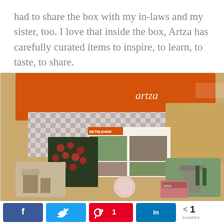had to share the box with my in-laws and my sister, too. I love that inside the box, Artza has carefully curated items to inspire, to learn, to taste, to share.
[Figure (photo): Artza subscription box (orange box labeled 'artza') with various printed cards, brochures showing Bethlehem and other Israeli scenes, spread out on a wooden surface with a checkered cloth]
[Figure (infographic): Social sharing bar with Facebook, Twitter, Pinterest (showing count of 1), LinkedIn buttons, and a share count of 1 SHARES]